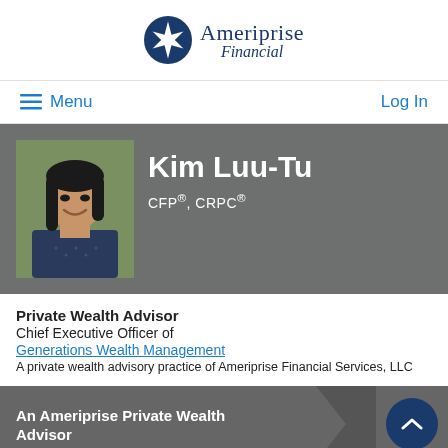[Figure (logo): Ameriprise Financial logo with star compass icon and text 'Ameriprise Financial']
Menu
Log In
Kim Luu-Tu
CFP®, CRPC®
[Figure (photo): Professional headshot of Kim Luu-Tu, a woman with dark hair, smiling, wearing a dark patterned jacket, outdoors with greenery in background]
Private Wealth Advisor
Chief Executive Officer of
Generations Wealth Management
A private wealth advisory practice of Ameriprise Financial Services, LLC
An Ameriprise Private Wealth Advisor
703.766.2025